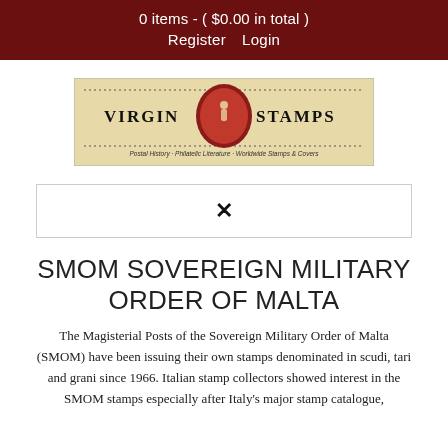0 items - ( $0.00 in total )
Register   Login
[Figure (logo): Virgin Stamps logo — beige background with oval red medallion center, text VIRGIN STAMPS on either side, dotted border line, subtitle: Postal History · Philatelic Literature · Worldwide Stamps & Covers]
✕
SMOM SOVEREIGN MILITARY ORDER OF MALTA
The Magisterial Posts of the Sovereign Military Order of Malta (SMOM) have been issuing their own stamps denominated in scudi, tari and grani since 1966. Italian stamp collectors showed interest in the SMOM stamps especially after Italy's major stamp catalogue,